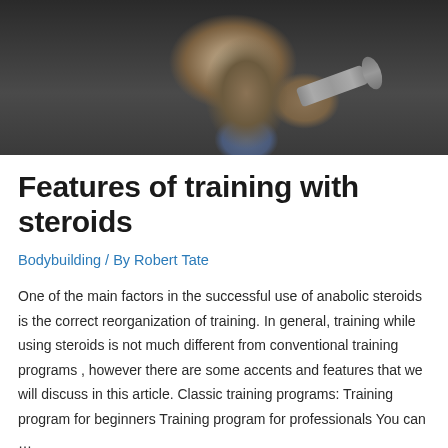[Figure (photo): A muscular shirtless male bodybuilder holding a dumbbell in a gym setting, shown from waist up, black and white/dark toned photo]
Features of training with steroids
Bodybuilding / By Robert Tate
One of the main factors in the successful use of anabolic steroids is the correct reorganization of training. In general, training while using steroids is not much different from conventional training programs , however there are some accents and features that we will discuss in this article. Classic training programs: Training program for beginners Training program for professionals You can …